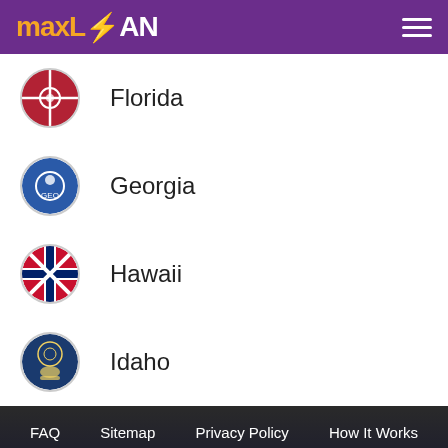MAXLOAN
Florida
Georgia
Hawaii
Idaho
FAQ  Sitemap  Privacy Policy  How It Works  Rates & Fees  Terms of Use
Apply Now
Applying does NOT affect your credit score! No credit check to apply.